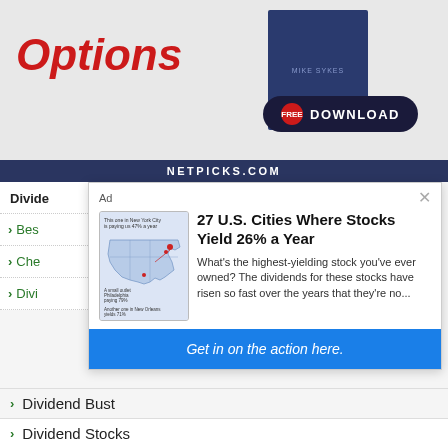[Figure (screenshot): Top banner advertisement with red italic 'Options' text on left, dark book cover on right, 'FREE DOWNLOAD' button on dark rounded background]
NETPICKS.COM
Ad
[Figure (map): US map showing cities where stocks yield 26% a year, with labeled cities including New York City, Philadelphia, New Orleans]
27 U.S. Cities Where Stocks Yield 26% a Year
What's the highest-yielding stock you've ever owned? The dividends for these stocks have risen so fast over the years that they're no...
Get in on the action here.
Divide
Bes
Che
Divi
Dividend Bust
Dividend Stocks
Dividend Stocks To Buy?
Dividend Yield
Lists of Dividend Stocks